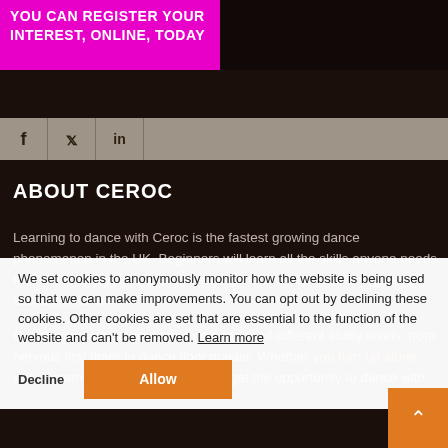YOU CAN REGISTER YOUR INTEREST, ONLINE, TODAY
[Figure (other): Social sharing bar with Facebook, Twitter, and LinkedIn icons on a tan/grey background]
ABOUT CEROC
Learning to dance with Ceroc is the fastest growing dance phenomenon in the UK. Beginners will learn all the skills anyone needs to know to enjoy dance. Our teaching method makes learning easy, sociable and fun.
Our classes are catered towards a range of different ability levels, from nervous first timer to dance floor master. Whether you turn up alone, with a partner or in a group, you will get the opportunity to dance with
We set cookies to anonymously monitor how the website is being used so that we can make improvements. You can opt out by declining these cookies. Other cookies are set that are essential to the function of the website and can't be removed. Learn more
Decline | Allow